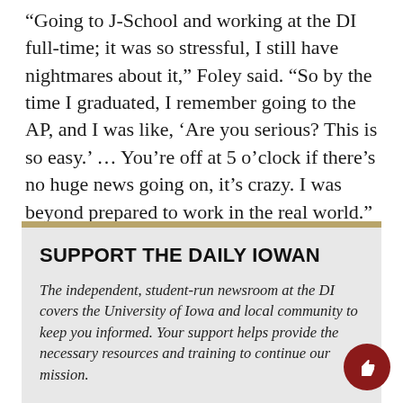“Going to J-School and working at the DI full-time; it was so stressful, I still have nightmares about it,” Foley said. “So by the time I graduated, I remember going to the AP, and I was like, ‘Are you serious? This is so easy.’ … You’re off at 5 o’clock if there’s no huge news going on, it’s crazy. I was beyond prepared to work in the real world.”
SUPPORT THE DAILY IOWAN
The independent, student-run newsroom at the DI covers the University of Iowa and local community to keep you informed. Your support helps provide the necessary resources and training to continue our mission.
GIVE NOW